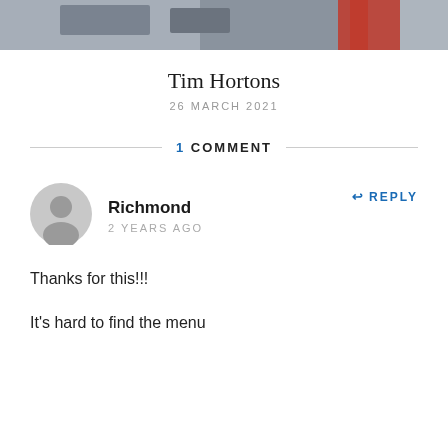[Figure (photo): Partial photo of a Tim Hortons storefront exterior, showing a blurred building facade with a red door on the right side]
Tim Hortons
26 MARCH 2021
1 COMMENT
[Figure (illustration): Generic grey user avatar icon showing a silhouette of a person]
Richmond
2 YEARS AGO
REPLY
Thanks for this!!!
It's hard to find the menu